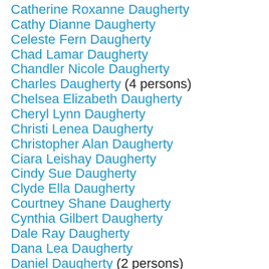Catherine Roxanne Daugherty
Cathy Dianne Daugherty
Celeste Fern Daugherty
Chad Lamar Daugherty
Chandler Nicole Daugherty
Charles Daugherty (4 persons)
Chelsea Elizabeth Daugherty
Cheryl Lynn Daugherty
Christi Lenea Daugherty
Christopher Alan Daugherty
Ciara Leishay Daugherty
Cindy Sue Daugherty
Clyde Ella Daugherty
Courtney Shane Daugherty
Cynthia Gilbert Daugherty
Dale Ray Daugherty
Dana Lea Daugherty
Daniel Daugherty (2 persons)